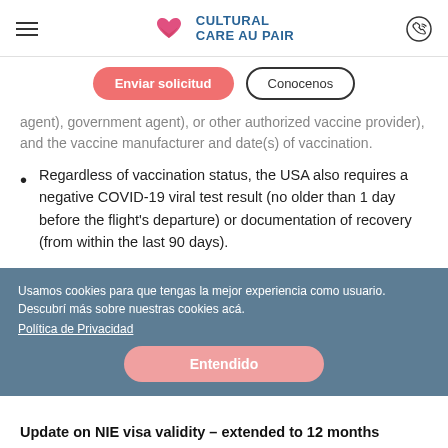[Figure (logo): Cultural Care Au Pair logo with pink heart icon and teal text]
Enviar solicitud
Conocenos
agent), government agent), or other authorized vaccine provider), and the vaccine manufacturer and date(s) of vaccination.
Regardless of vaccination status, the USA also requires a negative COVID-19 viral test result (no older than 1 day before the flight's departure) or documentation of recovery (from within the last 90 days).
Please find the full overview and details by the American CDC here.
Usamos cookies para que tengas la mejor experiencia como usuario. Descubrí más sobre nuestras cookies acá.
Política de Privacidad
Entendido
Update on NIE visa validity – extended to 12 months